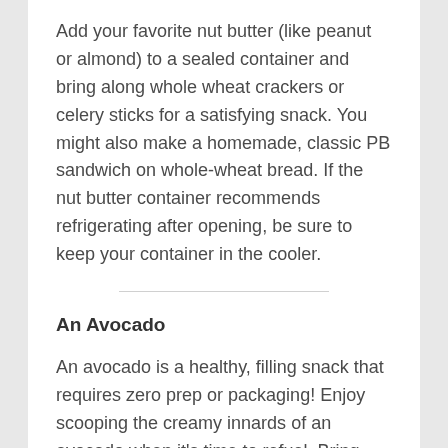Add your favorite nut butter (like peanut or almond) to a sealed container and bring along whole wheat crackers or celery sticks for a satisfying snack. You might also make a homemade, classic PB sandwich on whole-wheat bread. If the nut butter container recommends refrigerating after opening, be sure to keep your container in the cooler.
An Avocado
An avocado is a healthy, filling snack that requires zero prep or packaging! Enjoy scooping the creamy innards of an avocado when it's time to refuel. Bring along a knife to slice open the avocado. You might also bring a couple lime slices, if you have them — many enjoy spritzing fresh lime juice and o